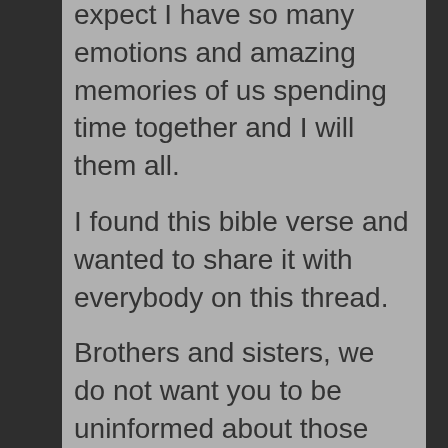expect I have so many emotions and amazing memories of us spending time together and I will them all.
I found this bible verse and wanted to share it with everybody on this thread.
Brothers and sisters, we do not want you to be uninformed about those who sleep in death, so that you do not grieve like the rest of mankind, who have no hope. For we believe that Jesus